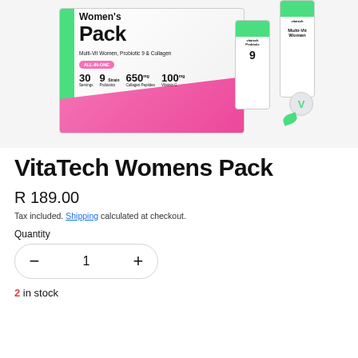[Figure (photo): VitaTech Womens Pack product box showing Multi-Vit Women, Probiotic 9 & Collagen ALL-IN-ONE with 30 Servings, 9 Strain Probiotics, 650mg Collagen Peptides, 100mg Vitamin C. Includes side bottles of Probiotic 9 and Multi-Vit Women.]
VitaTech Womens Pack
R 189.00
Tax included. Shipping calculated at checkout.
Quantity
2 in stock